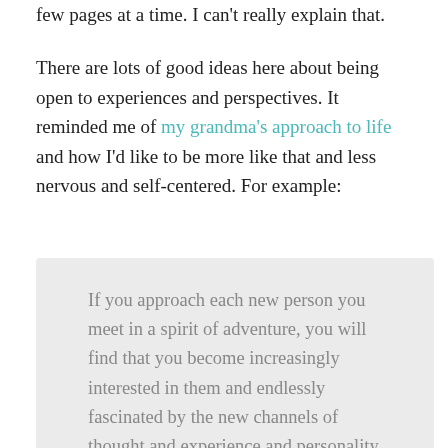few pages at a time.  I can't really explain that.
There are lots of good ideas here about being open to experiences and perspectives.  It reminded me of my grandma's approach to life and how I'd like to be more like that and less nervous and self-centered.  For example:
If you approach each new person you meet in a spirit of adventure, you will find that you become increasingly interested in them and endlessly fascinated by the new channels of thought and experience and personality that you encounter.  I do not mean simply the famous people of the world but people from every walk and condition of life.  You will find them a source of inexhaustible surprise